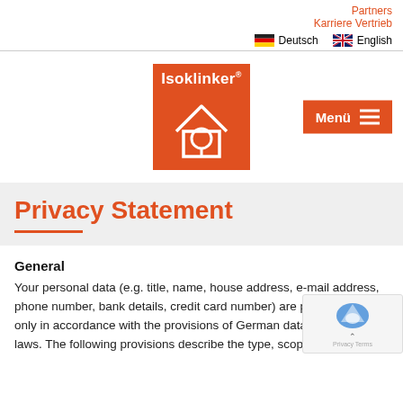Partners
Karriere Vertrieb
Deutsch   English
[Figure (logo): Isoklinker orange logo with house and tree icon]
Privacy Statement
General
Your personal data (e.g. title, name, house address, e-mail address, phone number, bank details, credit card number) are processed by us only in accordance with the provisions of German data protection laws. The following provisions describe the type, scope and